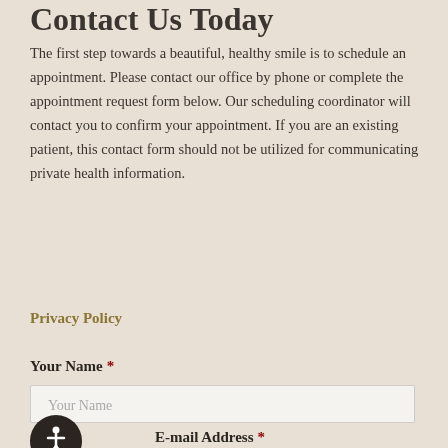Contact Us Today
The first step towards a beautiful, healthy smile is to schedule an appointment. Please contact our office by phone or complete the appointment request form below. Our scheduling coordinator will contact you to confirm your appointment. If you are an existing patient, this contact form should not be utilized for communicating private health information.
Privacy Policy
Your Name *
Your Name (input field placeholder)
Your E-mail Address *